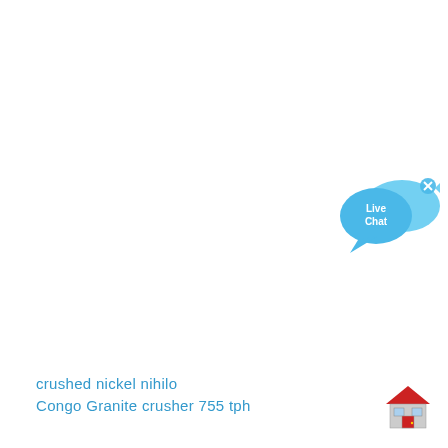[Figure (illustration): Live Chat widget: a blue speech bubble with 'Live Chat' text in white, overlapping a blue fish shape, with a small 'x' close button in the upper right corner]
[Figure (illustration): Small house/building icon with a red roof and grey walls with windows]
crushed nickel nihilo
Congo Granite crusher 755 tph